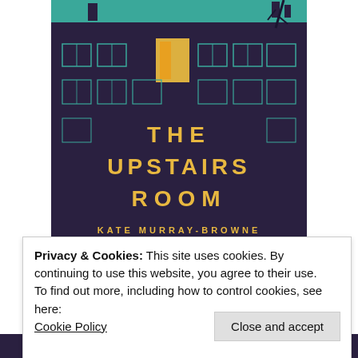[Figure (illustration): Book cover of 'The Upstairs Room' by Kate Murray-Browne. Dark navy/purple illustrated building facade with teal accent details, teal sky at top, glowing yellow window on upper floor, teal arched doorway at bottom, bare tree silhouette at top right. Title in large gold spaced capitals 'THE UPSTAIRS ROOM', author name in smaller gold spaced capitals 'KATE MURRAY-BROWNE'.]
Privacy & Cookies: This site uses cookies. By continuing to use this website, you agree to their use.
To find out more, including how to control cookies, see here: Cookie Policy
Close and accept